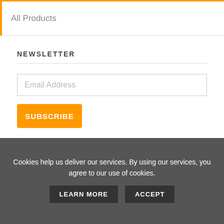All Products
NEWSLETTER
Email Address
SUBSCRIBE
[Figure (illustration): A circular 'PROTECTED' badge/seal with blue dome, stars, and scalloped silver edge]
Cookies help us deliver our services. By using our services, you agree to our use of cookies.
LEARN MORE
ACCEPT